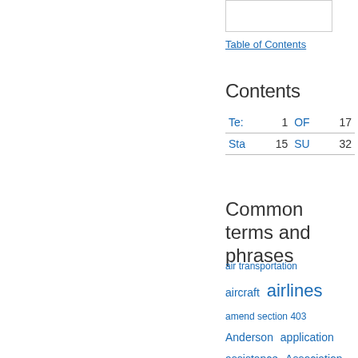[Figure (other): Small image/thumbnail box (partially visible, cropped)]
Table of Contents
Contents
|  |  |  |  |
| --- | --- | --- | --- |
| Te: | 1 | OF | 17 |
| Sta | 15 | SU | 32 |
Common terms and phrases
air transportation
aircraft   airlines
amend section 403
Anderson   application
assistance   Association
authority   believe   bill to